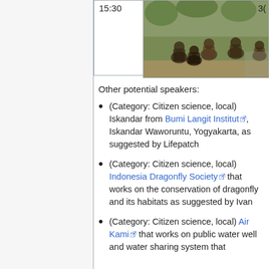[Figure (photo): Group of people sitting in a circle outdoors, appearing to have a discussion or meeting, with trees and buildings in background. Time label '15:30' visible on left, '30' visible top right.]
Other potential speakers:
(Category: Citizen science, local) Iskandar from Bumi Langit Institut, Iskandar Waworuntu, Yogyakarta, as suggested by Lifepatch
(Category: Citizen science, local) Indonesia Dragonfly Society that works on the conservation of dragonfly and its habitats as suggested by Ivan
(Category: Citizen science, local) Air Kami that works on public water well and water sharing system that